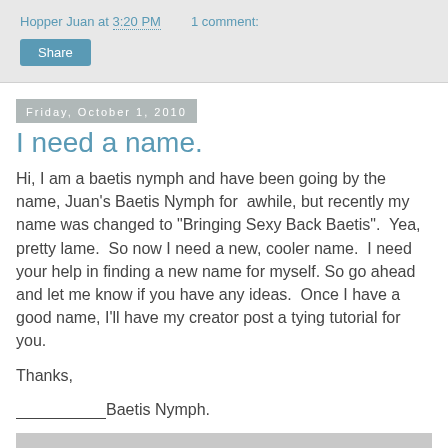Hopper Juan at 3:20 PM   1 comment:
Share
Friday, October 1, 2010
I need a name.
Hi, I am a baetis nymph and have been going by the name, Juan's Baetis Nymph for  awhile, but recently my name was changed to "Bringing Sexy Back Baetis".  Yea, pretty lame.  So now I need a new, cooler name.  I need your help in finding a new name for myself. So go ahead and let me know if you have any ideas.  Once I have a good name, I'll have my creator post a tying tutorial for you.
Thanks,
____________Baetis Nymph.
[Figure (screenshot): Bottom gray image area partially visible]